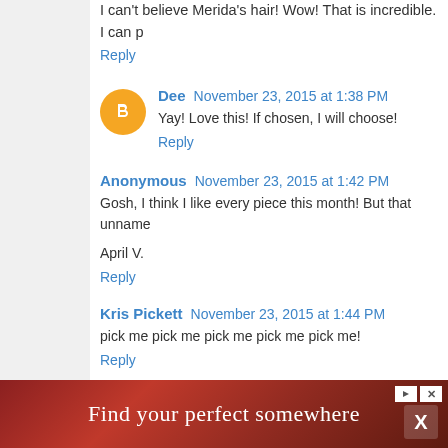I can't believe Merida's hair! Wow! That is incredible. I can p
Reply
Dee  November 23, 2015 at 1:38 PM
Yay! Love this! If chosen, I will choose!
Reply
Anonymous  November 23, 2015 at 1:42 PM
Gosh, I think I like every piece this month! But that unname
April V.
Reply
Kris Pickett  November 23, 2015 at 1:44 PM
pick me pick me pick me pick me pick me!
Reply
[Figure (infographic): Advertisement banner: dark red background with text 'Find your perfect somewhere' with travel imagery and close button X]